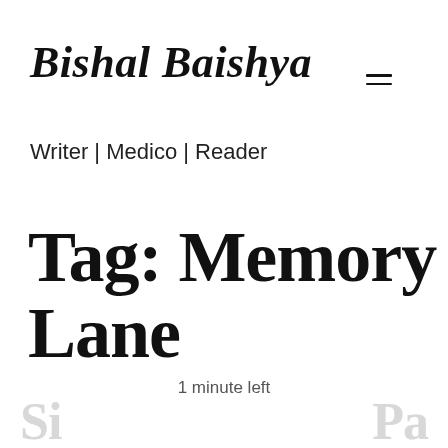Bishal Baishya
Writer | Medico | Reader
Tag: Memory Lane
1 minute left